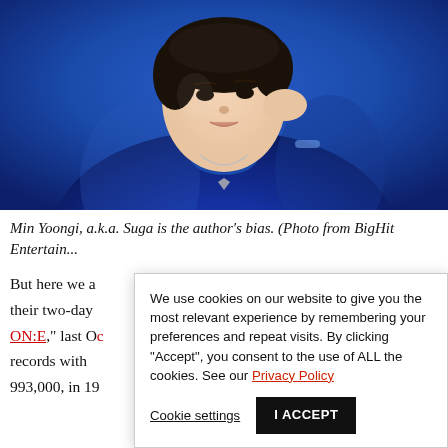[Figure (photo): Portrait photo of Min Yoongi (Suga) wearing a blue velvet jacket and blue turtleneck with a silver necklace, posing with hand near face against a blue background.]
Min Yoongi, a.k.a. Suga is the author's bias. (Photo from BigHit Entertain...
But here we a... their two-day... ON:E," last Oc... records with... 993,000, in 19...
We use cookies on our website to give you the most relevant experience by remembering your preferences and repeat visits. By clicking "Accept", you consent to the use of ALL the cookies. See our Privacy Policy
Cookie settings | I ACCEPT